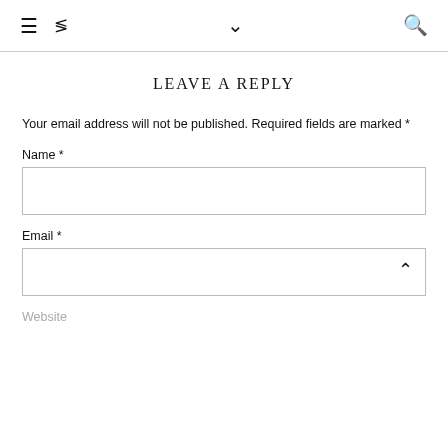≡  ⋖  ∨  Q
LEAVE A REPLY
Your email address will not be published. Required fields are marked *
Name *
Email *
Website